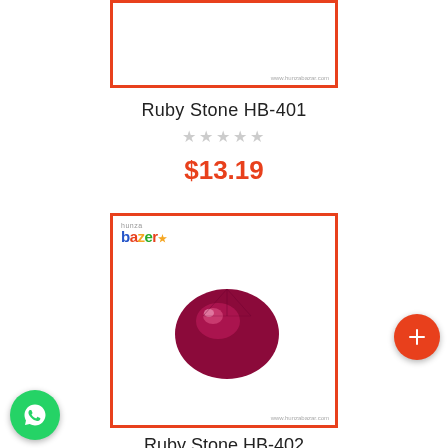[Figure (photo): Product image placeholder for Ruby Stone HB-401, white background with red border and www.hunzabazar.com watermark]
Ruby Stone HB-401
★★★★★ (empty stars rating)
$13.19
[Figure (photo): Ruby Stone HB-402 product image showing a deep red/maroon oval faceted ruby gemstone on white background, red border, hunzabazar logo top left, www.hunzabazar.com watermark bottom right]
Ruby Stone HB-402
★★★★★ (empty stars rating)